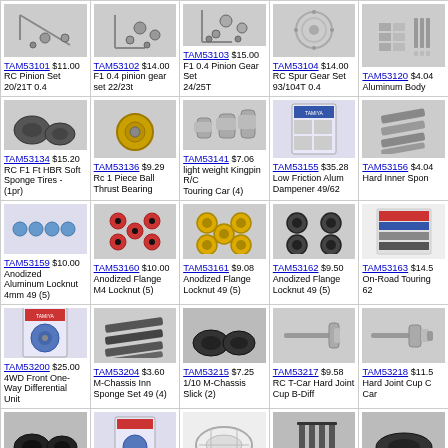| TAM53101 $11.00 RC Pinion Set 20/21T 0.4 | TAM53102 $14.00 F1 0.4 pinion gear set 22/23t | TAM53103 $15.00 F1 0.4 Pinion Gear Set 24/25T | TAM53104 $14.00 RC Spur Gear Set 93/104T 0.4 | TAM53120 $4.04 Aluminum Body |
| TAM53134 $15.20 RC F1 Ft HBR Soft Sponge Tires - (1pr) | TAM53136 $9.29 Rc 1 Piece Ball Thrust Bearing | TAM53141 $7.06 light weight Kingpin R/C Touring Car (4) | TAM53155 $35.28 Low Friction Alum Dampener 49/62 | TAM53156 $4.04 Hard Inner Spon |
| TAM53159 $10.00 Anodized Aluminum Locknut 4mm 49 (5) | TAM53160 $10.00 Anodized Flange M4 Locknut (5) | TAM53161 $9.08 Anodized Flange Locknut 49 (5) | TAM53162 $9.50 Anodized Flange Locknut 49 (5) | TAM53163 $14.5 On-Road Touring 62 |
| TAM53200 $25.00 4WD Front One-Way Differential Unit | TAM53204 $3.60 M-Chassis Inn Sponge Set 49 (4) | TAM53215 $7.25 1/10 M-Chassis Slick (2) | TAM53217 $9.58 RC T-Car Hard Joint Cup B-Diff | TAM53218 $11.5 Hard Joint Cup C Car |
| (image) | (image) | (image) | (image) | (image) |